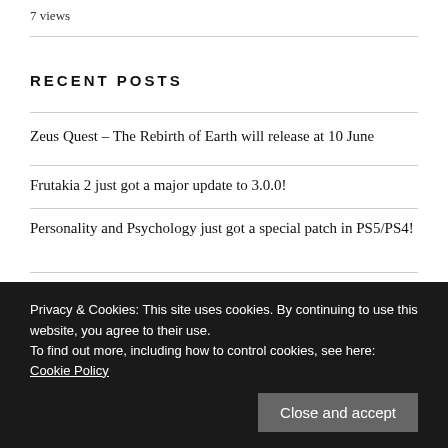7 views
RECENT POSTS
Zeus Quest – The Rebirth of Earth will release at 10 June
Frutakia 2 just got a major update to 3.0.0!
Personality and Psychology just got a special patch in PS5/PS4!
Astrology and Horoscope Premium just got a major update 2.4.0!
Privacy & Cookies: This site uses cookies. By continuing to use this website, you agree to their use.
To find out more, including how to control cookies, see here: Cookie Policy